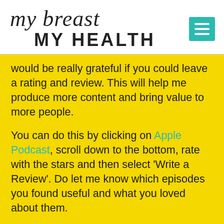my breast MY HEALTH
would be really grateful if you could leave a rating and review. This will help me produce more content and bring value to more people.
You can do this by clicking on Apple Podcast, scroll down to the bottom, rate with the stars and then select ‘Write a Review’. Do let me know which episodes you found useful and what you loved about them.
If you want to make sure you don’t miss out on future episodes, then do subscribe to the podcast. You can do it at Apple Podcast, Stitcher, Spotify